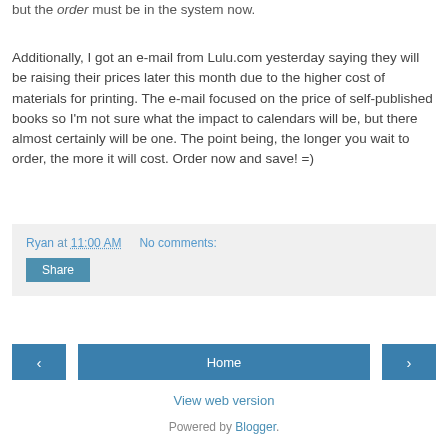but the order must be in the system now.
Additionally, I got an e-mail from Lulu.com yesterday saying they will be raising their prices later this month due to the higher cost of materials for printing. The e-mail focused on the price of self-published books so I'm not sure what the impact to calendars will be, but there almost certainly will be one. The point being, the longer you wait to order, the more it will cost. Order now and save! =)
Ryan at 11:00 AM   No comments:
Share
‹
Home
›
View web version
Powered by Blogger.